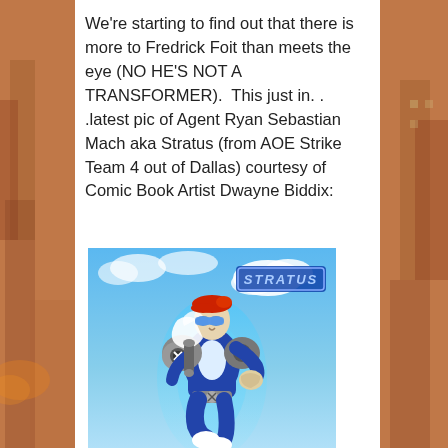We're starting to find out that there is more to Fredrick Foit than meets the eye (NO HE'S NOT A TRANSFORMER).  This just in. . .latest pic of Agent Ryan Sebastian Mach aka Stratus (from AOE Strike Team 4 out of Dallas) courtesy of Comic Book Artist Dwayne Biddix:
[Figure (illustration): Comic book illustration of Agent Ryan Sebastian Mach aka Stratus — a superhero character in a blue suit with mechanical jet-pack/shoulder gear, red beret/cap, blue goggles, white flowing scarf, and white boots. The character is posed dynamically against a bright blue sky background. The word 'STRATUS' appears in stylized text in the upper right corner of the illustration.]